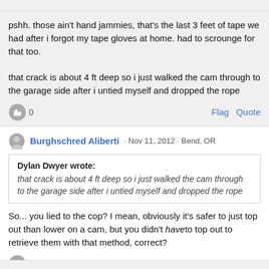pshh. those ain't hand jammies, that's the last 3 feet of tape we had after i forgot my tape gloves at home. had to scrounge for that too.

that crack is about 4 ft deep so i just walked the cam through to the garage side after i untied myself and dropped the rope
0
Flag  Quote
Burghschred Aliberti · Nov 11, 2012 · Bend, OR
Dylan Dwyer wrote:
that crack is about 4 ft deep so i just walked the cam through to the garage side after i untied myself and dropped the rope
So... you lied to the cop? I mean, obviously it's safer to just top out than lower on a cam, but you didn't have to top out to retrieve them with that method, correct?
0
Flag  Quote